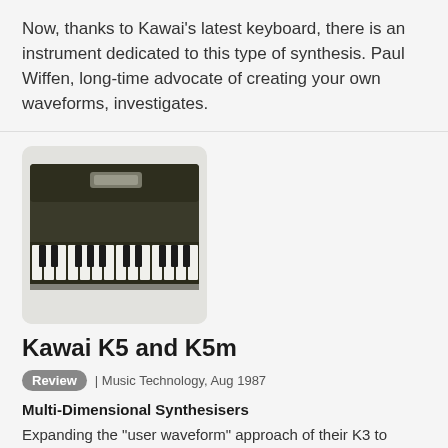Now, thanks to Kawai's latest keyboard, there is an instrument dedicated to this type of synthesis. Paul Wiffen, long-time advocate of creating your own waveforms, investigates.
[Figure (photo): Photo of a Kawai keyboard synthesizer, showing the black body with keys and control panel, viewed from a slight angle.]
Kawai K5 and K5m
Review | Music Technology, Aug 1987
Multi-Dimensional Synthesisers
Expanding the "user waveform" approach of their K3 to almost full additive waveform proportions has given Kawai what they call a "multi-dimensional" synthesiser. Bob O'Donnell likes what he hears.
[Figure (photo): Partial photo of another Kawai keyboard (K5m), showing the top portion with keys and control panel, cropped at bottom of page.]